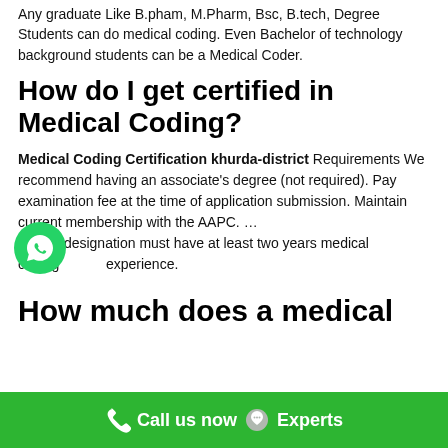Any graduate Like B.pham, M.Pharm, Bsc, B.tech, Degree Students can do medical coding. Even Bachelor of technology background students can be a Medical Coder.
How do I get certified in Medical Coding?
Medical Coding Certification khurda-district Requirements We recommend having an associate's degree (not required). Pay examination fee at the time of application submission. Maintain current membership with the AAPC. … A CPC designation must have at least two years medical coding experience.
How much does a medical
Call us now  Experts